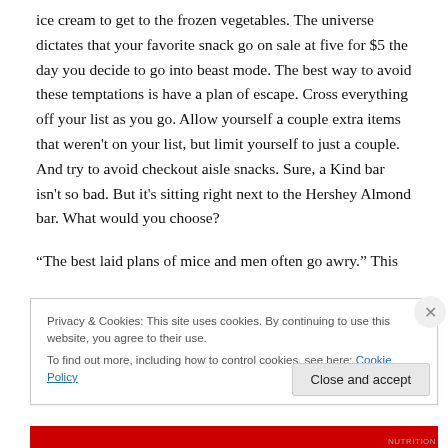ice cream to get to the frozen vegetables. The universe dictates that your favorite snack go on sale at five for $5 the day you decide to go into beast mode. The best way to avoid these temptations is have a plan of escape. Cross everything off your list as you go. Allow yourself a couple extra items that weren't on your list, but limit yourself to just a couple. And try to avoid checkout aisle snacks. Sure, a Kind bar isn't so bad. But it's sitting right next to the Hershey Almond bar. What would you choose?
“The best laid plans of mice and men often go awry.” This
Privacy & Cookies: This site uses cookies. By continuing to use this website, you agree to their use.
To find out more, including how to control cookies, see here: Cookie Policy